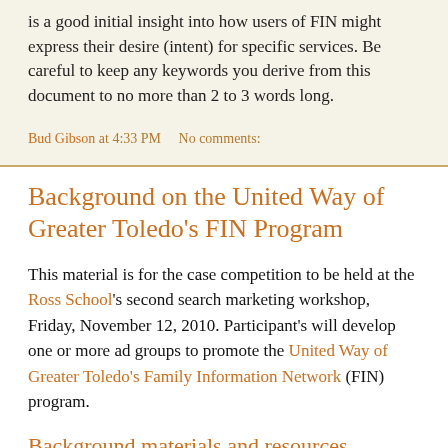is a good initial insight into how users of FIN might express their desire (intent) for specific services. Be careful to keep any keywords you derive from this document to no more than 2 to 3 words long.
Bud Gibson at 4:33 PM   No comments:
Background on the United Way of Greater Toledo's FIN Program
This material is for the case competition to be held at the Ross School's second search marketing workshop, Friday, November 12, 2010. Participant's will develop one or more ad groups to promote the United Way of Greater Toledo's Family Information Network (FIN) program.
Background materials and resources
...